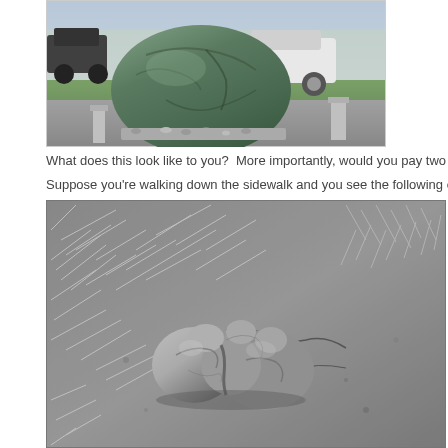[Figure (photo): Color photograph of a large greenish-gray rock or boulder sculpture displayed outdoors, with a white car and green lawn visible in the background. The rock sits on a bed of small stones in a parking lot or walkway area.]
What does this look like to you?  More importantly, would you pay two hundred g
Suppose you're walking down the sidewalk and you see the following object in yo
[Figure (photo): Black and white photograph showing a small irregularly-shaped rock or stone object lying on sandy/gravelly ground with dried grass or plant material around it.]